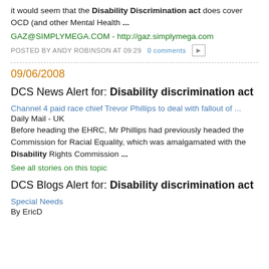it would seem that the Disability Discrimination act does cover OCD (and other Mental Health ...
GAZ@SIMPLYMEGA.COM - http://gaz.simplymega.com
POSTED BY ANDY ROBINSON AT 09:29   0 comments
09/06/2008
DCS News Alert for: Disability discrimination act
Channel 4 paid race chief Trevor Phillips to deal with fallout of ...
Daily Mail - UK
Before heading the EHRC, Mr Phillips had previously headed the Commission for Racial Equality, which was amalgamated with the Disability Rights Commission ...
See all stories on this topic
DCS Blogs Alert for: Disability discrimination act
Special Needs
By EricD